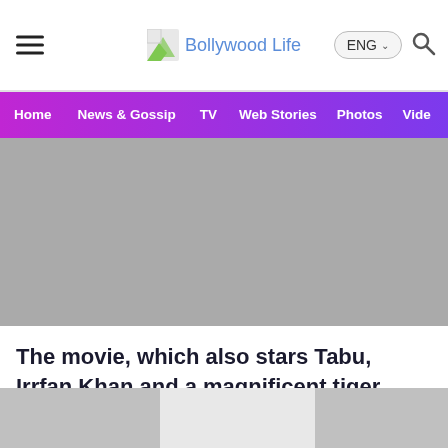Bollywood Life
[Figure (screenshot): Navigation bar with Home, News & Gossip, TV, Web Stories, Photos, Video menu items on purple/magenta gradient background]
[Figure (photo): Large hero image area, shown as gray placeholder]
The movie, which also stars Tabu, Irrfan Khan and a magnificent tiger, pulls you in with really amazing visuals and, by the end, creates a